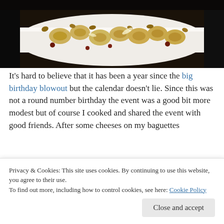[Figure (photo): Close-up photo of tortellini pasta on a white rectangular plate with nuts and dried fruit, served on a dark background]
It's hard to believe that it has been a year since the big birthday blowout but the calendar doesn't lie. Since this was not a round number birthday the event was a good bit more modest but of course I cooked and shared the event with good friends. After some cheeses on my baguettes
Privacy & Cookies: This site uses cookies. By continuing to use this website, you agree to their use.
To find out more, including how to control cookies, see here: Cookie Policy
Close and accept
what an amazing combo.